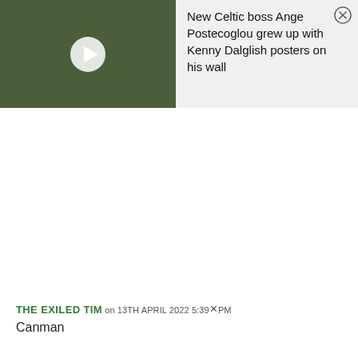[Figure (screenshot): Video thumbnail showing a man in a white shirt against a green/olive background, with a white play button triangle overlay]
New Celtic boss Ange Postecoglou grew up with Kenny Dalglish posters on his wall
THE EXILED TIM on 13TH APRIL 2022 5:39 PM
Canman